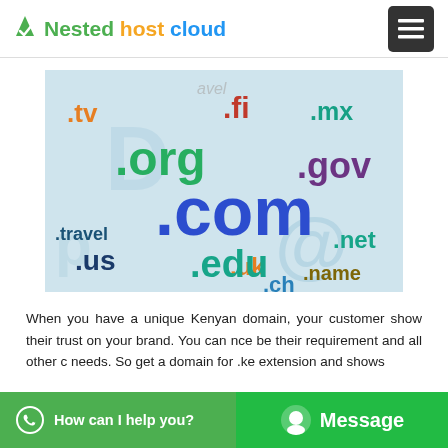Nested host cloud — hamburger menu
[Figure (illustration): Word cloud of domain name extensions: .com (large blue), .org (green), .edu (teal), .gov (purple), .net (teal), .us (dark blue), .tv (orange), .fi (red/crimson), .mx (teal), .travel (dark blue), .uk (orange), .name (olive), .ch (blue), on a light blue background]
When you have a unique Kenyan domain, your customer show their trust on your brand. You can ... nce be... their requirement and all other c... needs. So get a domain for .ke extension and shows